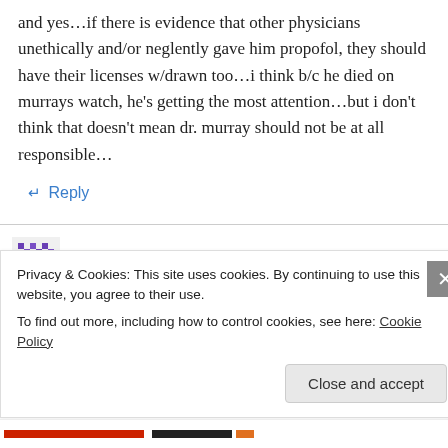and yes…if there is evidence that other physicians unethically and/or neglently gave him propofol, they should have their licenses w/drawn too…i think b/c he died on murrays watch, he's getting the most attention…but i don't think that doesn't mean dr. murray should not be at all responsible…
↵ Reply
Tiff on October 2, 2011 at 5:31 pm
Privacy & Cookies: This site uses cookies. By continuing to use this website, you agree to their use.
To find out more, including how to control cookies, see here: Cookie Policy
Close and accept